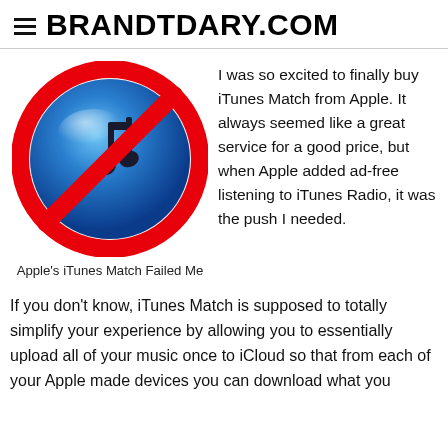BRANDTDARY.COM
[Figure (illustration): iTunes logo (blue music note icon) overlaid with a red prohibition/no symbol (circle with diagonal slash), indicating Apple's iTunes Match service being rejected or failed.]
Apple's iTunes Match Failed Me
I was so excited to finally buy iTunes Match from Apple. It always seemed like a great service for a good price, but when Apple added ad-free listening to iTunes Radio, it was the push I needed.
If you don't know, iTunes Match is supposed to totally simplify your experience by allowing you to essentially upload all of your music once to iCloud so that from each of your Apple made devices you can download what you